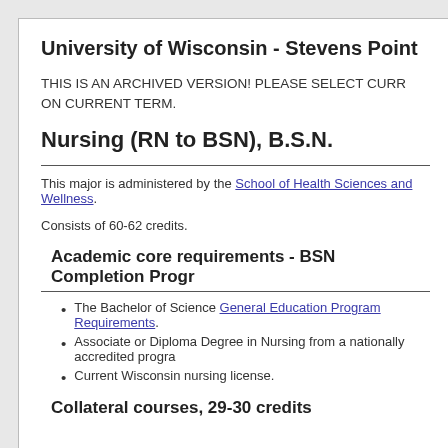University of Wisconsin - Stevens Point
THIS IS AN ARCHIVED VERSION! PLEASE SELECT CURR... ON CURRENT TERM.
Nursing (RN to BSN), B.S.N.
This major is administered by the School of Health Sciences and Wellness.
Consists of 60-62 credits.
Academic core requirements - BSN Completion Progr...
The Bachelor of Science General Education Program Requirements.
Associate or Diploma Degree in Nursing from a nationally accredited progra...
Current Wisconsin nursing license.
Collateral courses, 29-30 credits